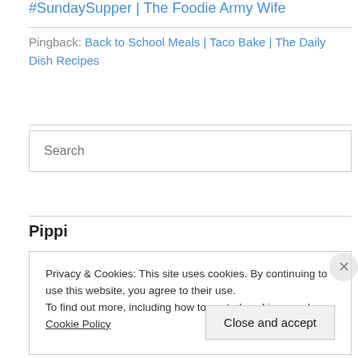#SundaySupper | The Foodie Army Wife
Pingback: Back to School Meals | Taco Bake | The Daily Dish Recipes
Search
Pippi
Privacy & Cookies: This site uses cookies. By continuing to use this website, you agree to their use.
To find out more, including how to control cookies, see here: Cookie Policy
Close and accept